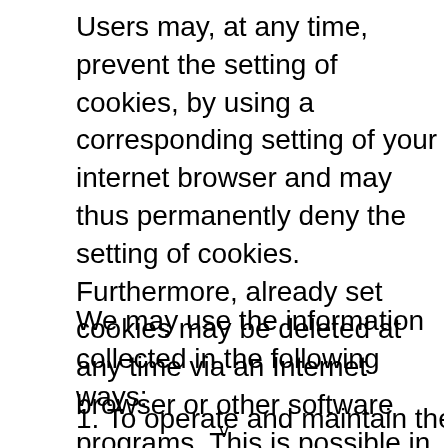Users may, at any time, prevent the setting of cookies, by using a corresponding setting of your internet browser and may thus permanently deny the setting of cookies. Furthermore, already set cookies may be deleted at any time via an Internet browser or other software programs. This is possible in all popular Internet browsers. However, if users deactivate the setting of cookies in your Internet browser, not all functions of our website may be entirely usable.
We may use the information collected in the following ways:
1. To operate and maintain the Kasinorites Travel...